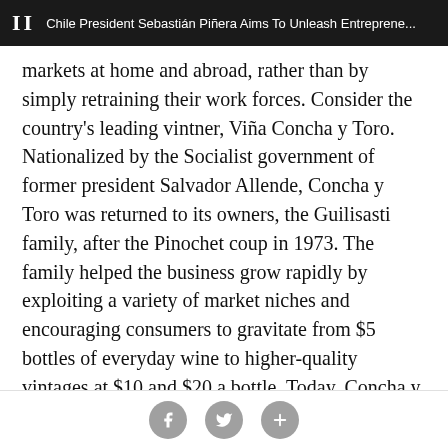II  Chile President Sebastián Piñera Aims To Unleash Entreprene...
markets at home and abroad, rather than by simply retraining their work forces. Consider the country's leading vintner, Viña Concha y Toro. Nationalized by the Socialist government of former president Salvador Allende, Concha y Toro was returned to its owners, the Guilisasti family, after the Pinochet coup in 1973. The family helped the business grow rapidly by exploiting a variety of market niches and encouraging consumers to gravitate from $5 bottles of everyday wine to higher-quality vintages at $10 and $20 a bottle. Today, Concha y Toro's 19 labels account for one third of the domestic market and close to 40 percent of Chilean wine exports. The company, the seventh-largest wine producer in the
social icons: facebook, twitter, plus